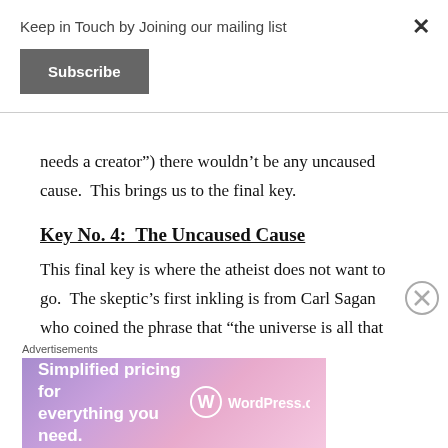Keep in Touch by Joining our mailing list
Subscribe
needs a creator”) there wouldn’t be any uncaused cause.  This brings us to the final key.
Key No. 4:  The Uncaused Cause
This final key is where the atheist does not want to go.  The skeptic’s first inkling is from Carl Sagan who coined the phrase that “the universe is all that there is, and ever was.” But Hubble’s
Advertisements
[Figure (screenshot): WordPress.com advertisement banner: 'Simplified pricing for everything you need.' with WordPress.com logo]